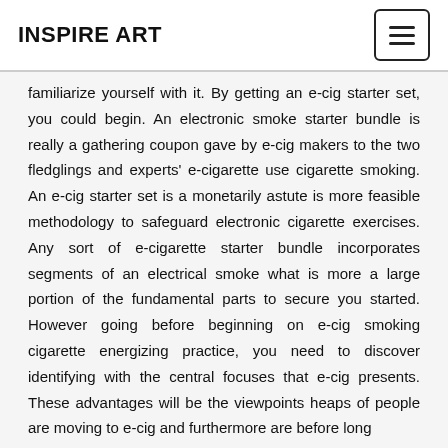INSPIRE ART
familiarize yourself with it. By getting an e-cig starter set, you could begin. An electronic smoke starter bundle is really a gathering coupon gave by e-cig makers to the two fledglings and experts' e-cigarette use cigarette smoking. An e-cig starter set is a monetarily astute is more feasible methodology to safeguard electronic cigarette exercises. Any sort of e-cigarette starter bundle incorporates segments of an electrical smoke what is more a large portion of the fundamental parts to secure you started. However going before beginning on e-cig smoking cigarette energizing practice, you need to discover identifying with the central focuses that e-cig presents. These advantages will be the viewpoints heaps of people are moving to e-cig and furthermore are before long